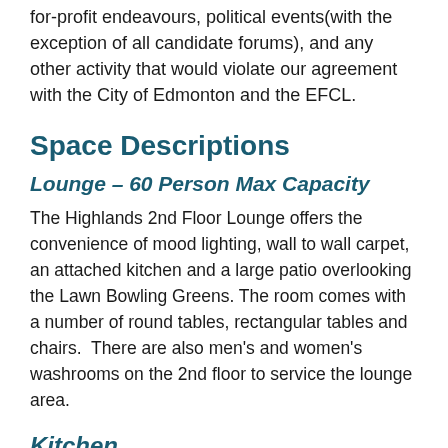for-profit endeavours, political events(with the exception of all candidate forums), and any other activity that would violate our agreement with the City of Edmonton and the EFCL.
Space Descriptions
Lounge – 60 Person Max Capacity
The Highlands 2nd Floor Lounge offers the convenience of mood lighting, wall to wall carpet, an attached kitchen and a large patio overlooking the Lawn Bowling Greens. The room comes with a number of round tables, rectangular tables and chairs.  There are also men's and women's washrooms on the 2nd floor to service the lounge area.
Kitchen